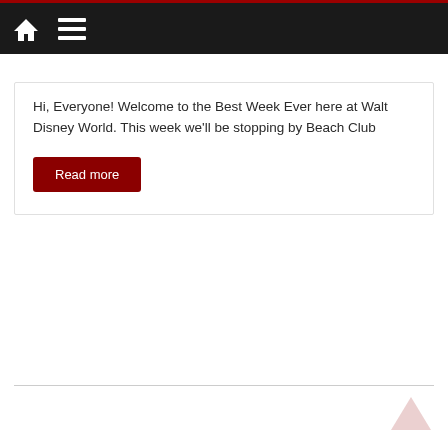Navigation bar with home icon and menu icon
Hi, Everyone! Welcome to the Best Week Ever here at Walt Disney World. This week we'll be stopping by Beach Club
Read more